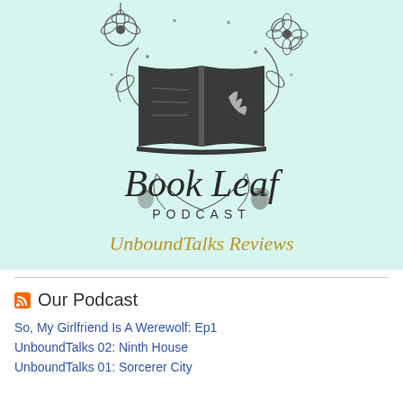[Figure (logo): Book Leaf Podcast logo on mint/light teal background. Features an open book silhouette surrounded by floral and botanical line art (flowers, leaves, vines). Below reads 'Book Leaf' in serif script and 'PODCAST' in small caps. Below that reads 'UnboundTalks Reviews' in decorative gold/yellow script font.]
Our Podcast
So, My Girlfriend Is A Werewolf: Ep1
UnboundTalks 02: Ninth House
UnboundTalks 01: Sorcerer City